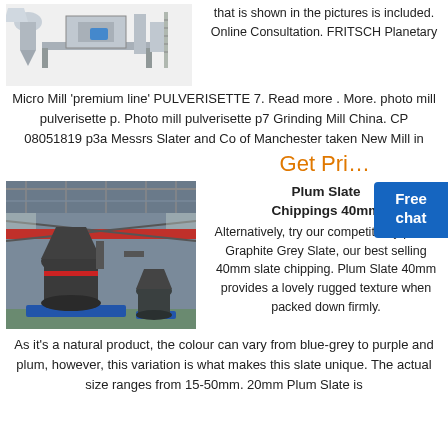[Figure (photo): Industrial mill/processing equipment machine on white background]
that is shown in the pictures is included. Online Consultation. FRITSCH Planetary Micro Mill 'premium line' PULVERISETTE 7. Read more . More. photo mill pulverisette p. Photo mill pulverisette p7 Grinding Mill China. CP 08051819 p3a Messrs Slater and Co of Manchester taken New Mill in
Get Pri
Free
chat
[Figure (photo): Industrial grinding mill equipment inside a large factory/warehouse building with metal framework structure]
Plum Slate Chippings 40mm
Alternatively, try our competitively priced Graphite Grey Slate, our best selling 40mm slate chipping. Plum Slate 40mm provides a lovely rugged texture when packed down firmly.
As it's a natural product, the colour can vary from blue-grey to purple and plum, however, this variation is what makes this slate unique. The actual size ranges from 15-50mm. 20mm Plum Slate is